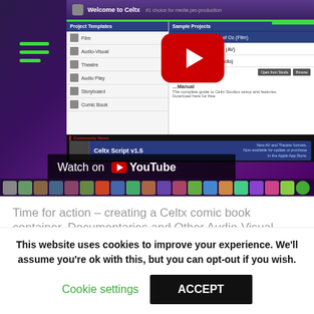[Figure (screenshot): Screenshot of Celtx media pre-production software showing a YouTube video thumbnail with a play button overlay. The Celtx interface shows Project Templates (Film, Audio-Visual, Theatre, Audio Play, Storyboard, Comic Book) and Sample Projects (Wonderful Wizard of Oz, A Day at the Races, War of the Worlds Audio). A Community News section shows 'Celtx Script v1.5'. Below the screenshot is a 'Watch on YouTube' label bar and an app taskbar strip.]
Time for action – creating a Celtx comic book container. Documentaries and Other Audio-Visual
This website uses cookies to improve your experience. We'll assume you're ok with this, but you can opt-out if you wish.
Cookie settings
ACCEPT